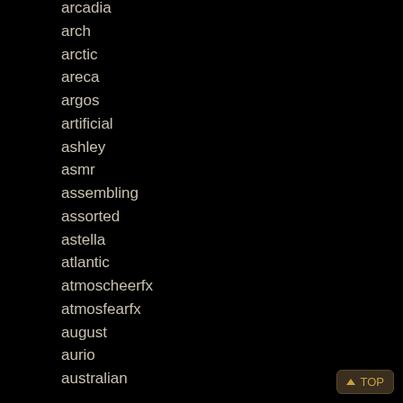arcadia
arch
arctic
areca
argos
artificial
ashley
asmr
assembling
assorted
astella
atlantic
atmoscheerfx
atmosfearfx
august
aurio
australian